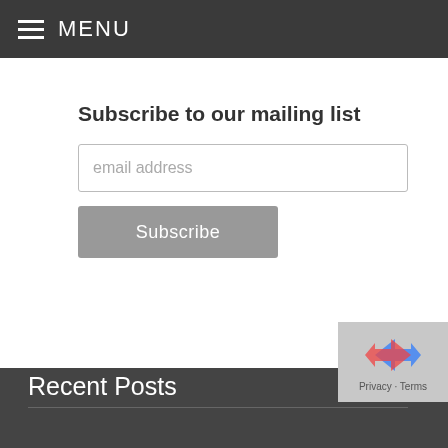MENU
Subscribe to our mailing list
email address
Subscribe
[Figure (illustration): Broken image placeholder with text 'The Romance Review']
Recent Posts